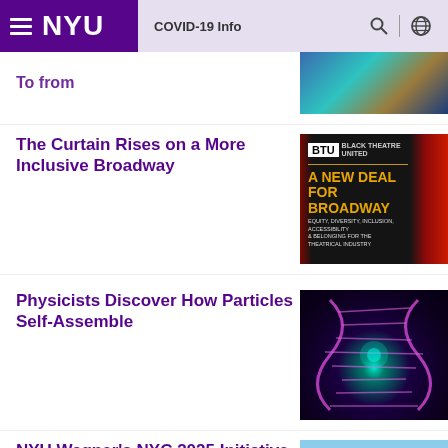NYU | COVID-19 Info
To from
The Curtain Rises on a More Inclusive Broadway
[Figure (illustration): BTU Black Theatre United - A New Deal for Broadway promotional image with red curtain]
Physicists Discover How Particles Self-Assemble
[Figure (photo): Glowing DNA double helix strands in purple/pink on dark background]
NYU Wagner's NYC 2025 Initiative Plans Nov. 17
[Figure (photo): NYC skyline photo]